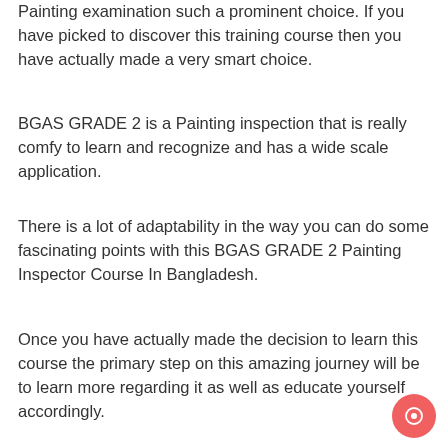Painting examination such a prominent choice. If you have picked to discover this training course then you have actually made a very smart choice.
BGAS GRADE 2 is a Painting inspection that is really comfy to learn and recognize and has a wide scale application.
There is a lot of adaptability in the way you can do some fascinating points with this BGAS GRADE 2 Painting Inspector Course In Bangladesh.
Once you have actually made the decision to learn this course the primary step on this amazing journey will be to learn more regarding it as well as educate yourself accordingly.